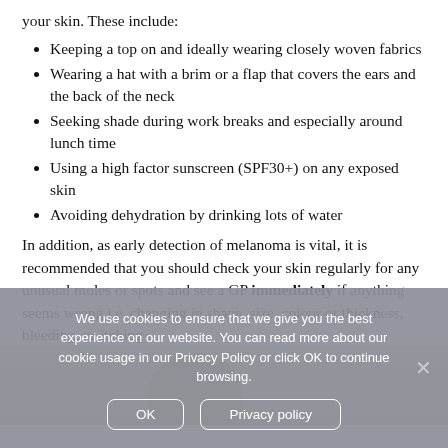your skin. These include:
Keeping a top on and ideally wearing closely woven fabrics
Wearing a hat with a brim or a flap that covers the ears and the back of the neck
Seeking shade during work breaks and especially around lunch time
Using a high factor sunscreen (SPF30+) on any exposed skin
Avoiding dehydration by drinking lots of water
In addition, as early detection of melanoma is vital, it is recommended that you should check your skin regularly for any unusual moles or spots and see a GP immediately if anything seems wrong i.e. changing in shape, size, colour or thickness, bleeding, or itching
[Figure (photo): Partial photo of a person's head/hat, cropped, light background]
We use cookies to ensure that we give you the best experience on our website. You can read more about our cookie usage in our Privacy Policy or click OK to continue browsing.